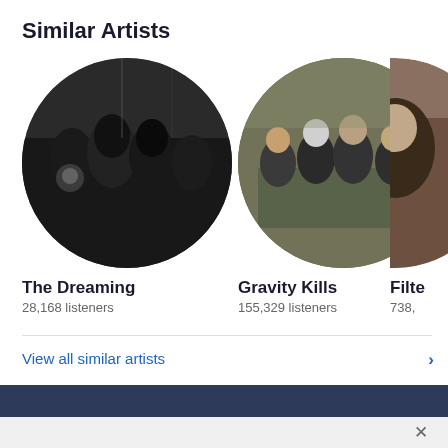Similar Artists
[Figure (photo): Circular photo of rock band 'The Dreaming' in black and white]
The Dreaming
28,168 listeners
[Figure (photo): Circular photo of rock band 'Gravity Kills' in color]
Gravity Kills
155,329 listeners
[Figure (photo): Partial circular photo of artist 'Filter' cropped at right edge]
Filte
738,
View all similar artists